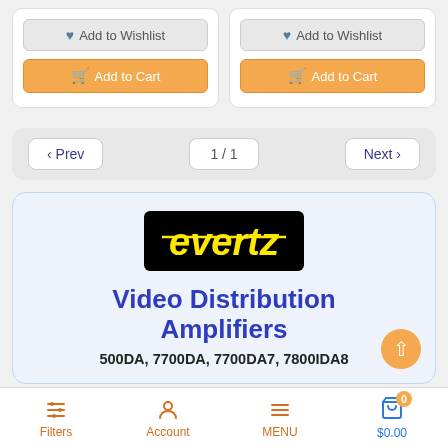[Figure (screenshot): Two product card buttons: 'Add to Wishlist' and 'Add to Cart' shown side by side]
[Figure (screenshot): Pagination controls: Prev button, 1/1 page indicator, Next button]
[Figure (logo): Evertz logo — yellow text on black background]
Video Distribution Amplifiers
500DA, 7700DA, 7700DA7, 7800IDA8
Filters   Account   MENU   $0.00